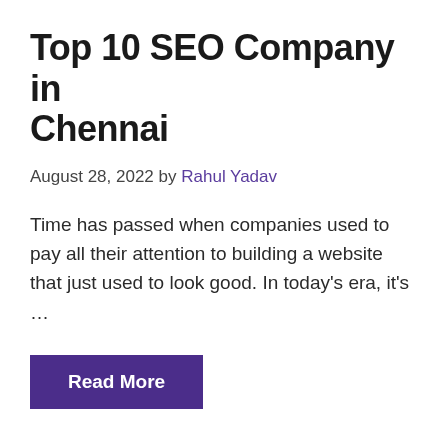Top 10 SEO Company in Chennai
August 28, 2022 by Rahul Yadav
Time has passed when companies used to pay all their attention to building a website that just used to look good. In today’s era, it’s …
Read More
Uncategorized